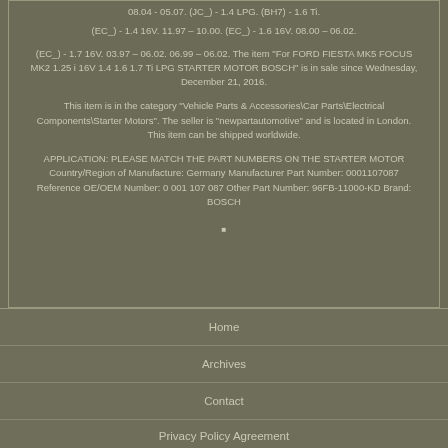08.04 - 05.07. (JC_) - 1.4 LPG. (BH7) - 1.6 Ti.
(EC_) - 1.4 16V. 11.97 - 10.00. (EC_) - 1.6 16V. 08.00 - 06.02.
(EC_) - 1.7 16V. 03.97 - 06.02. 06.99 - 06.02. The item "For FORD FIESTA MK5 FOCUS MK2 1.25 i 16V 1.4 1.6 1.7 Ti LPG STARTER MOTOR BOSCH" is in sale since Wednesday, December 21, 2016.
This item is in the category "Vehicle Parts & Accessories\Car Parts\Electrical Components\Starter Motors". The seller is "newpartautomotive" and is located in London. This item can be shipped worldwide.
APPLICATION: PLEASE MATCH THE PART NUMBERS ON THE STARTER MOTOR Country/Region of Manufacture: Germany Manufacturer Part Number: 0001107087 Reference OE/OEM Number: 0 001 107 087 Other Part Number: 96FB-11000-KD Brand: BOSCH
Home
Archives
Contact
Privacy Policy Agreement